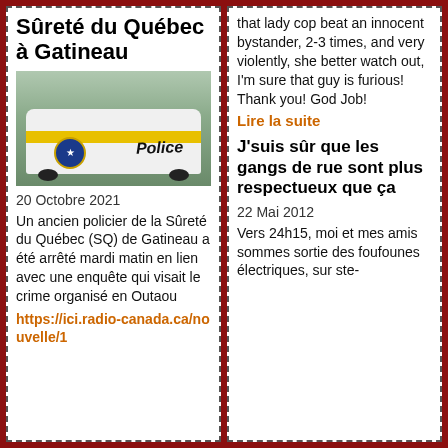Sûreté du Québec à Gatineau
[Figure (photo): Photo of a Sûreté du Québec police car, white with yellow stripe and Police lettering, badge visible on door]
20 Octobre 2021
Un ancien policier de la Sûreté du Québec (SQ) de Gatineau a été arrêté mardi matin en lien avec une enquête qui visait le crime organisé en Outaou
https://ici.radio-canada.ca/nouvelle/1
that lady cop beat an innocent bystander, 2-3 times, and very violently, she better watch out, I'm sure that guy is furious! Thank you! God Job!
Lire la suite
J'suis sûr que les gangs de rue sont plus respectueux que ça
22 Mai 2012
Vers 24h15, moi et mes amis sommes sortie des foufounes électriques, sur ste- the i bl tit